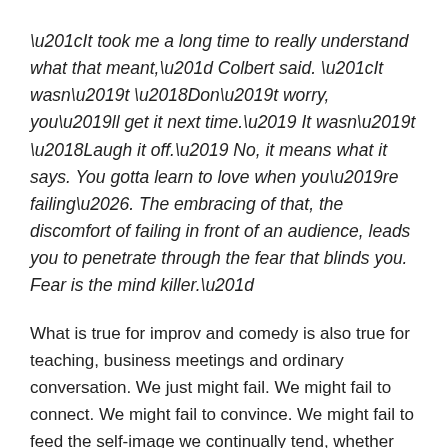“It took me a long time to really understand what that meant,” Colbert said. “It wasn’t ‘Don’t worry, you’ll get it next time.’ It wasn’t ‘Laugh it off.’ No, it means what it says. You gotta learn to love when you’re failing…. The embracing of that, the discomfort of failing in front of an audience, leads you to penetrate through the fear that blinds you. Fear is the mind killer.”
What is true for improv and comedy is also true for teaching, business meetings and ordinary conversation. We just might fail. We might fail to connect. We might fail to convince. We might fail to feed the self-image we continually tend, whether that image is macho or hip or knowing or controlled.
I cannot help but wonder if our growing xenophobia—an